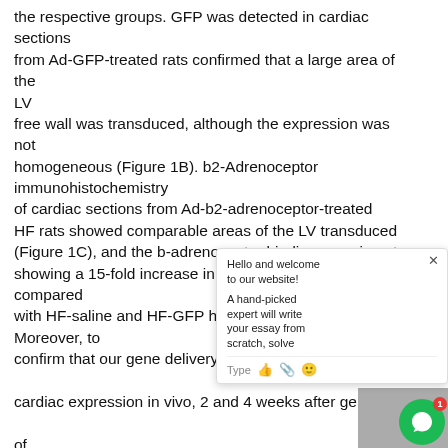the respective groups. GFP was detected in cardiac sections from Ad-GFP-treated rats confirmed that a large area of the LV free wall was transduced, although the expression was not homogeneous (Figure 1B). b2-Adrenoceptor immunohistochemistry of cardiac sections from Ad-b2-adrenoceptor-treated HF rats showed comparable areas of the LV transduced (Figure 1C), and the b-adrenoceptor binding experiment showing a 15-fold increase in membrane receptors compared with HF-saline and HF-GFP hearts (Figure 1D). Moreover, to confirm that our gene delivery technique supported efficient cardiac expression in vivo, 2 and 4 weeks after gene delivery of Ad-GFP, GFP expression was evaluated by detecting fluorescence in cardiomyocytes isolated from the previously described (Rengo et al., 2009). Interestingly, at 2 weeks after Ad-GFP gene delivery we found a transduction efficiency...